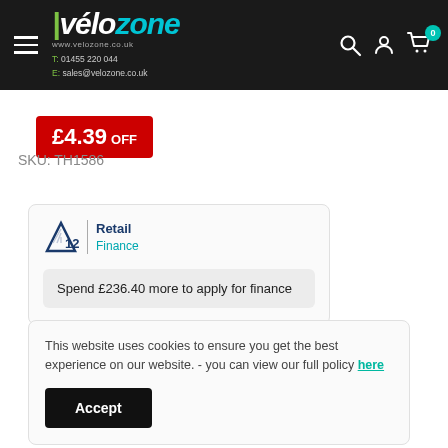[Figure (logo): Velozone website header with logo, contact info, hamburger menu, search/account/cart icons]
£4.39 OFF
SKU: TH1586
[Figure (logo): V12 Retail Finance logo]
Spend £236.40 more to apply for finance
This website uses cookies to ensure you get the best experience on our website. - you can view our full policy here
Accept